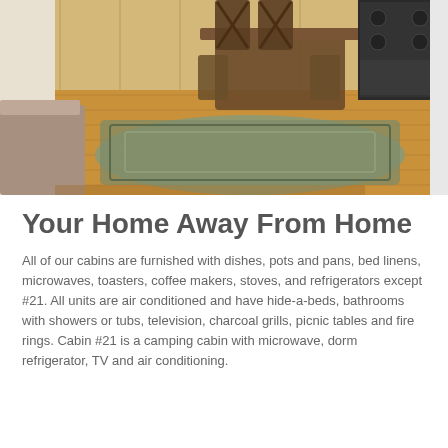[Figure (photo): Interior photo of a cabin showing hardwood floors, a dining table with chairs on a patterned rug, wood-paneled walls, and a stove/range in the upper right corner.]
Your Home Away From Home
All of our cabins are furnished with dishes, pots and pans, bed linens, microwaves, toasters, coffee makers, stoves, and refrigerators except #21. All units are air conditioned and have hide-a-beds, bathrooms with showers or tubs, television, charcoal grills, picnic tables and fire rings. Cabin #21 is a camping cabin with microwave, dorm refrigerator, TV and air conditioning.